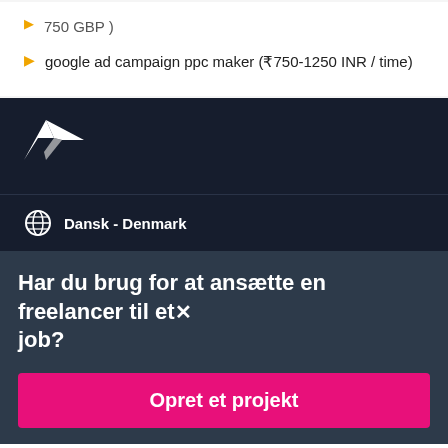750 GBP )
google ad campaign ppc maker (₹750-1250 INR / time)
[Figure (logo): Freelancer.com origami bird logo in white on dark navy background]
Dansk - Denmark
Har du brug for at ansætte en freelancer til et job?
Opret et projekt